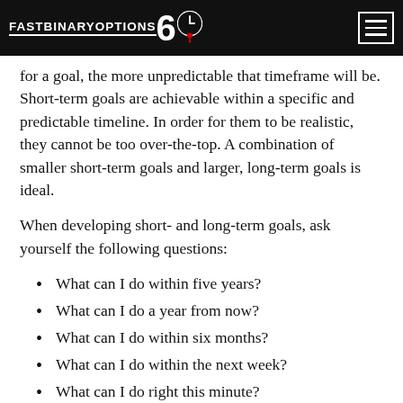FastBinaryOptions60
for a goal, the more unpredictable that timeframe will be. Short-term goals are achievable within a specific and predictable timeline. In order for them to be realistic, they cannot be too over-the-top. A combination of smaller short-term goals and larger, long-term goals is ideal.
When developing short- and long-term goals, ask yourself the following questions:
What can I do within five years?
What can I do a year from now?
What can I do within six months?
What can I do within the next week?
What can I do right this minute?
What goals can I fulfill with each and every trade,